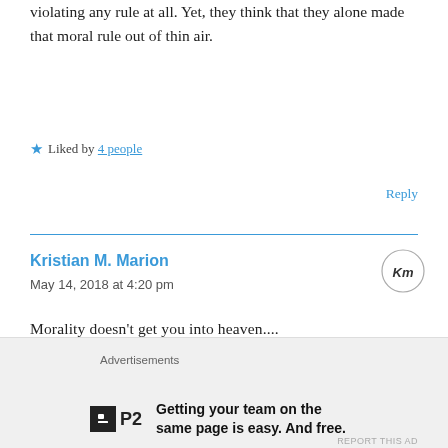violating any rule at all. Yet, they think that they alone made that moral rule out of thin air.
★ Liked by 4 people
Reply
Kristian M. Marion
May 14, 2018 at 4:20 pm
Morality doesn't get you into heaven....
★ Liked by 3 people
Advertisements
Getting your team on the same page is easy. And free.